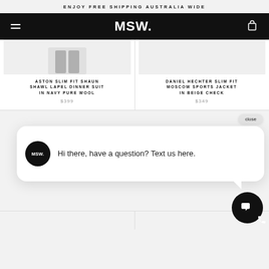ENJOY FREE SHIPPING AUSTRALIA WIDE
MSW.
ASTON SLIM FIT SHAUN SHAWL LAPEL DINNER SUIT IN NAVY PURE WOOL
$399
DANIEL HECHTER SLIM FIT MOSCOW SPORTS JACKET IN BEIGE CHECK
$349
Hi there, have a question? Text us here.